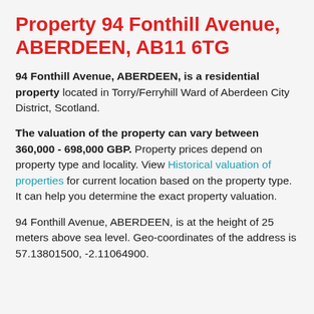Property 94 Fonthill Avenue, ABERDEEN, AB11 6TG
94 Fonthill Avenue, ABERDEEN, is a residential property located in Torry/Ferryhill Ward of Aberdeen City District, Scotland.
The valuation of the property can vary between 360,000 - 698,000 GBP. Property prices depend on property type and locality. View Historical valuation of properties for current location based on the property type. It can help you determine the exact property valuation.
94 Fonthill Avenue, ABERDEEN, is at the height of 25 meters above sea level. Geo-coordinates of the address is 57.13801500, -2.11064900.